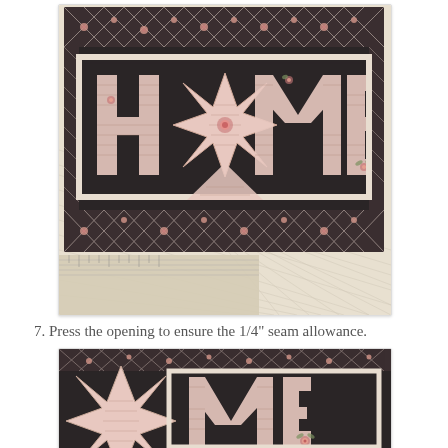[Figure (photo): A quilt wall hanging spelling HOME with a star replacing the O, dark charcoal background with pink floral lattice border, photographed on a cutting mat.]
7. Press the opening to ensure the 1/4" seam allowance.
[Figure (photo): Close-up of the HOME quilt showing the star and ME letters in detail, dark background with pink floral applique letters.]